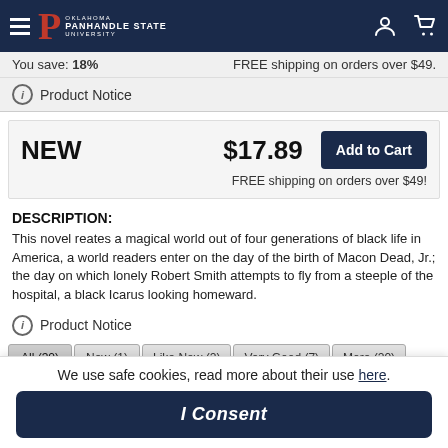Oklahoma Panhandle State University
You save: 18% | FREE shipping on orders over $49.
Product Notice
NEW   $17.89   Add to Cart
FREE shipping on orders over $49!
DESCRIPTION:
This novel reates a magical world out of four generations of black life in America, a world readers enter on the day of the birth of Macon Dead, Jr.; the day on which lonely Robert Smith attempts to fly from a steeple of the hospital, a black Icarus looking homeward.
Product Notice
All (30)  New (1)  Like New (2)  Very Good (7)  More (20)
We use safe cookies, read more about their use here.
I Consent